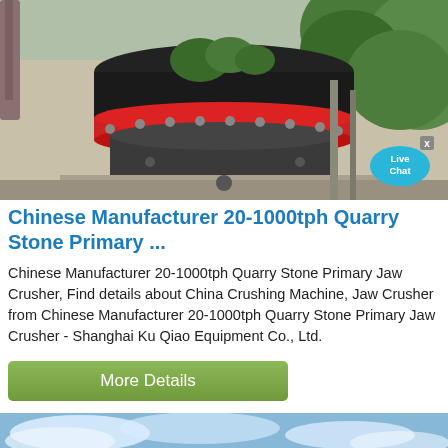[Figure (photo): Industrial cone crusher machine with black cylindrical top and red accent ring, photographed outdoors with green foliage in background. A 'Live Chat' speech bubble overlay appears in the bottom right corner.]
Chinese Manufacturer 20-1000tph Quarry Stone Primary ...
Chinese Manufacturer 20-1000tph Quarry Stone Primary Jaw Crusher, Find details about China Crushing Machine, Jaw Crusher from Chinese Manufacturer 20-1000tph Quarry Stone Primary Jaw Crusher - Shanghai Ku Qiao Equipment Co., Ltd.
More Details
[Figure (photo): Blue sky with white clouds, partial view at bottom of page.]